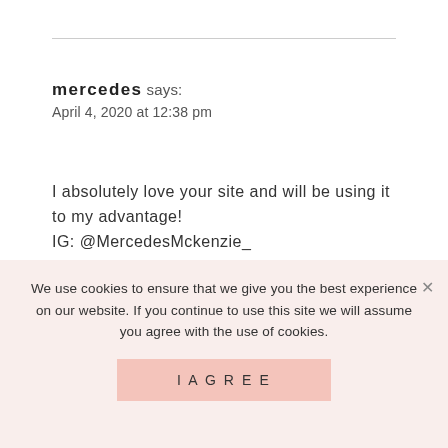mercedes says:
April 4, 2020 at 12:38 pm
I absolutely love your site and will be using it to my advantage!
IG: @MercedesMckenzie_
Log in to Reply
We use cookies to ensure that we give you the best experience on our website. If you continue to use this site we will assume you agree with the use of cookies.
I AGREE